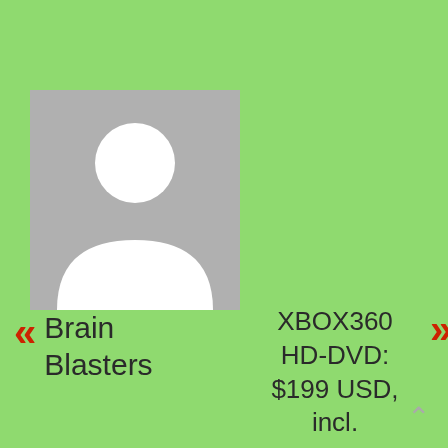[Figure (illustration): Generic user avatar placeholder: grey square with white silhouette of a person (circle head, rounded body shape)]
Brain Blasters
XBOX360 HD-DVD: $199 USD, incl. remote, and King Kong